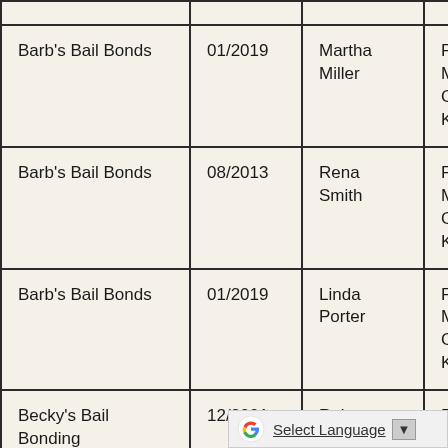| Company | Date | Agent | Counties | Details |
| --- | --- | --- | --- | --- |
| Barb's Bail Bonds | 01/2019 | Martha Miller | Ford, Gray, Meade, Comanche, Kiowa, Clark | u... $... |
| Barb's Bail Bonds | 08/2013 | Rena Smith | Ford, Gray, Meade, Comanche, Kiowa, Clark | u... $... |
| Barb's Bail Bonds | 01/2019 | Linda Porter | Ford, Gray, Meade, Comanche, Kiowa, Clark | u... $... |
| Becky's Bail Bonding | 12/2001 | Rebecca Escalante | Ford, Gray, Meade, Comanche, Kiowa, Clark | u... $... |